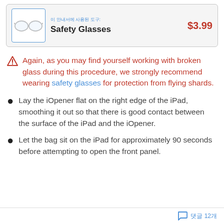[Figure (photo): Product card showing safety glasses image with price $3.99]
Again, as you may find yourself working with broken glass during this procedure, we strongly recommend wearing safety glasses for protection from flying shards.
Lay the iOpener flat on the right edge of the iPad, smoothing it out so that there is good contact between the surface of the iPad and the iOpener.
Let the bag sit on the iPad for approximately 90 seconds before attempting to open the front panel.
댓글 12개